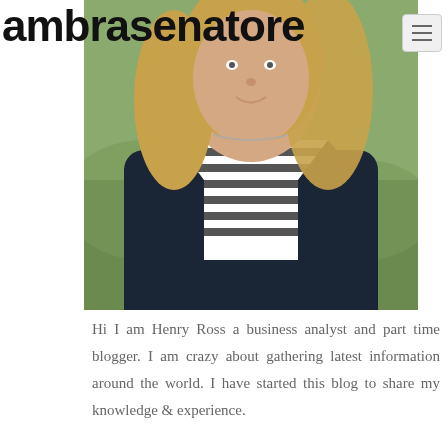ambrasenatore
[Figure (photo): Portrait photo of a woman with long blonde hair wearing a striped shirt and dark jacket, outdoors with green background]
Hi I am Henry Ross a business analyst and part time blogger. I am crazy about gathering latest information around the world. I have started this blog to share my knowledge & experience.
[Figure (other): Facebook social share icon - blue circle with letter f]
[Figure (other): Google+ social share icon - red circle with g+]
[Figure (other): Twitter social share icon - blue circle with bird]
[Figure (other): Add/follow social icon - dark blue circle with plus sign]
Recent Posts
Factors To Consider Before Buying Research Chemicals